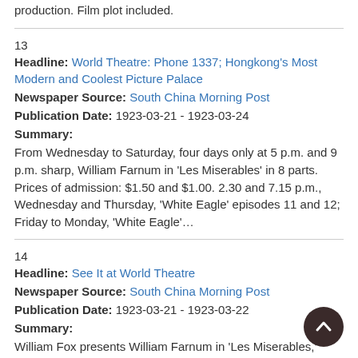production. Film plot included.
13
Headline: World Theatre: Phone 1337; Hongkong's Most Modern and Coolest Picture Palace
Newspaper Source: South China Morning Post
Publication Date: 1923-03-21 - 1923-03-24
Summary:
From Wednesday to Saturday, four days only at 5 p.m. and 9 p.m. sharp, William Farnum in 'Les Miserables' in 8 parts. Prices of admission: $1.50 and $1.00. 2.30 and 7.15 p.m., Wednesday and Thursday, 'White Eagle' episodes 11 and 12; Friday to Monday, 'White Eagle'…
14
Headline: See It at World Theatre
Newspaper Source: South China Morning Post
Publication Date: 1923-03-21 - 1923-03-22
Summary:
William Fox presents William Farnum in 'Les Miserables,' Victor Hugo's story. From Wednesday to Saturday at 5 p.m. and 9 p.m.